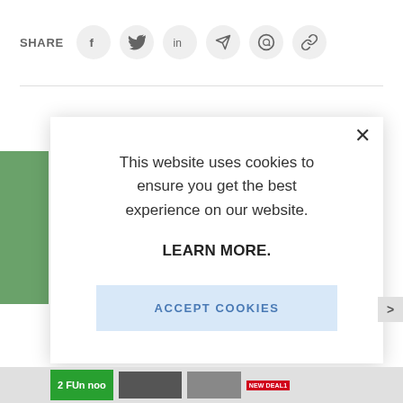SHARE
[Figure (screenshot): Social share icons: Facebook, Twitter, LinkedIn, Telegram, WhatsApp, link/chain icon — each in a light grey circle]
This website uses cookies to ensure you get the best experience on our website. LEARN MORE. ACCEPT COOKIES